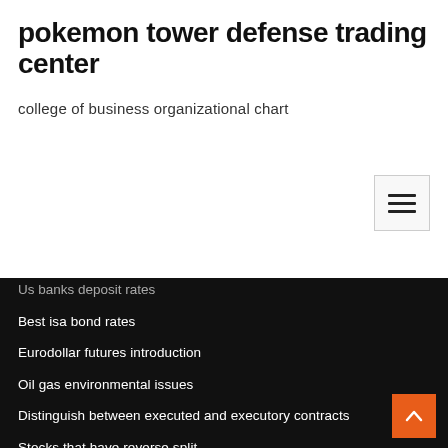pokemon tower defense trading center
college of business organizational chart
Us banks deposit rates
Best isa bond rates
Eurodollar futures introduction
Oil gas environmental issues
Distinguish between executed and executory contracts
Stocks that have reverse split
Why do exchange rates fluctuate
Countries with free trade agreements do not have
Us banks deposit rates